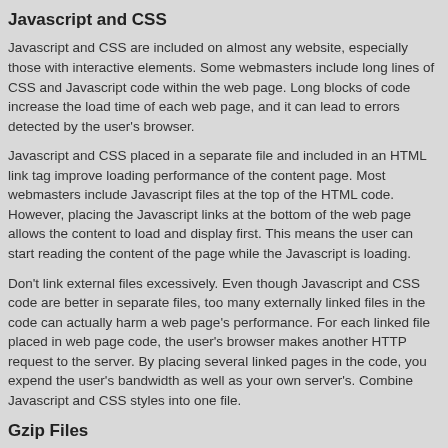Javascript and CSS
Javascript and CSS are included on almost any website, especially those with interactive elements. Some webmasters include long lines of CSS and Javascript code within the web page. Long blocks of code increase the load time of each web page, and it can lead to errors detected by the user's browser.
Javascript and CSS placed in a separate file and included in an HTML link tag improve loading performance of the content page. Most webmasters include Javascript files at the top of the HTML code. However, placing the Javascript links at the bottom of the web page allows the content to load and display first. This means the user can start reading the content of the page while the Javascript is loading.
Don't link external files excessively. Even though Javascript and CSS code are better in separate files, too many externally linked files in the code can actually harm a web page's performance. For each linked file placed in web page code, the user's browser makes another HTTP request to the server. By placing several linked pages in the code, you expend the user's bandwidth as well as your own server's. Combine Javascript and CSS styles into one file.
Gzip Files